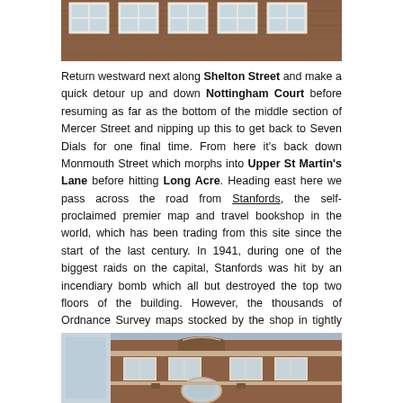[Figure (photo): Top portion of a brick building facade with white-framed windows visible]
Return westward next along Shelton Street and make a quick detour up and down Nottingham Court before resuming as far as the bottom of the middle section of Mercer Street and nipping up this to get back to Seven Dials for one final time. From here it's back down Monmouth Street which morphs into Upper St Martin's Lane before hitting Long Acre. Heading east here we pass across the road from Stanfords, the self-proclaimed premier map and travel bookshop in the world, which has been trading from this site since the start of the last century. In 1941, during one of the biggest raids on the capital, Stanfords was hit by an incendiary bomb which all but destroyed the top two floors of the building. However, the thousands of Ordnance Survey maps stocked by the shop in tightly constructed stacks helped halt the path of the flames and saved the rest of the shop from destruction. Subsequently, in a business move which his grandfather, the founder of the company, would have been proud of, Fraser Stanford continued to sell these maps withe their charred edges for years afterwards.
[Figure (photo): Lower portion showing ornate brick Victorian building facade with decorative stonework and arched window]